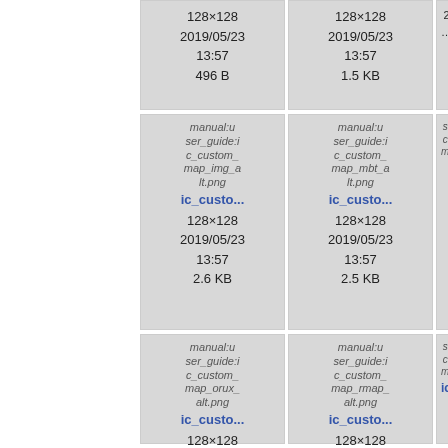128×128
2019/05/23
13:57
496 B
128×128
2019/05/23
13:57
1.5 KB
[Figure (other): manual:user_guide:ic_custom_map_img_alt.png broken image placeholder]
ic_custo...
128×128
2019/05/23
13:57
2.6 KB
[Figure (other): manual:user_guide:ic_custom_map_mbt_alt.png broken image placeholder]
ic_custo...
128×128
2019/05/23
13:57
2.5 KB
[Figure (other): manual:user_guide:ic_custom_map_orux_alt.png broken image placeholder]
ic_custo...
128×128
[Figure (other): manual:user_guide:ic_custom_map_rmap_alt.png broken image placeholder]
ic_custo...
128×128